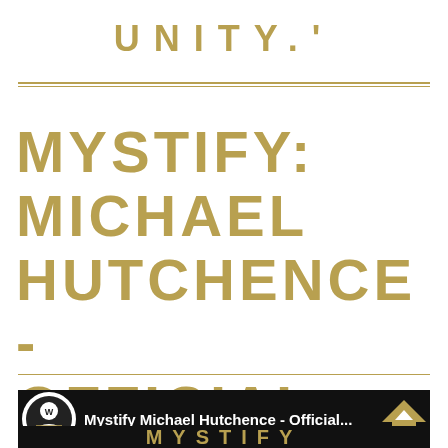UNITY.'
MYSTIFY: MICHAEL HUTCHENCE - OFFICIAL TRAILER
[Figure (screenshot): Thumbnail showing Mystify Michael Hutchence Official Trailer video link with logo icon and text label on black background, with a gold scroll-to-top button overlay]